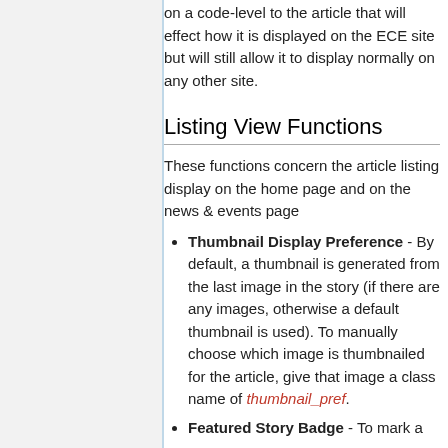on a code-level to the article that will effect how it is displayed on the ECE site but will still allow it to display normally on any other site.
Listing View Functions
These functions concern the article listing display on the home page and on the news & events page
Thumbnail Display Preference - By default, a thumbnail is generated from the last image in the story (if there are any images, otherwise a default thumbnail is used). To manually choose which image is thumbnailed for the article, give that image a class name of thumbnail_pref.
Featured Story Badge - To mark a